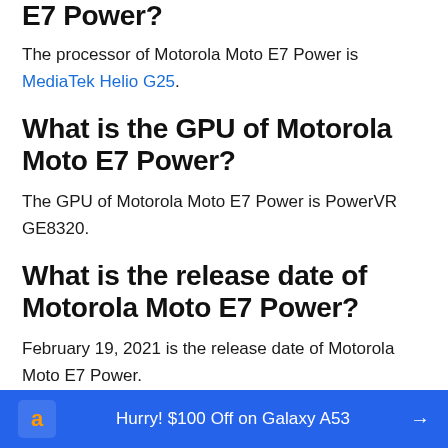E7 Power?
The processor of Motorola Moto E7 Power is MediaTek Helio G25.
What is the GPU of Motorola Moto E7 Power?
The GPU of Motorola Moto E7 Power is PowerVR GE8320.
What is the release date of Motorola Moto E7 Power?
February 19, 2021 is the release date of Motorola Moto E7 Power.
What is the screen size of Motorola Moto
Hurry! $100 Off on Galaxy A53